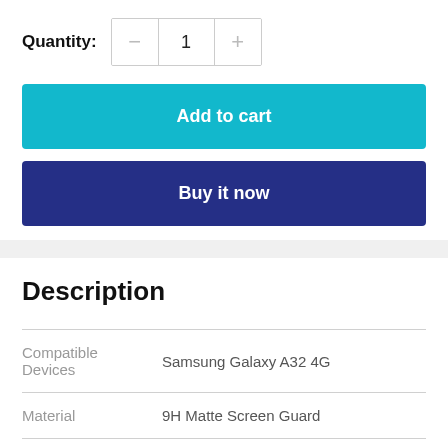Quantity: 1
Add to cart
Buy it now
Description
|  |  |
| --- | --- |
| Compatible Devices | Samsung Galaxy A32 4G |
| Material | 9H Matte Screen Guard |
| Brand | Tremolite |